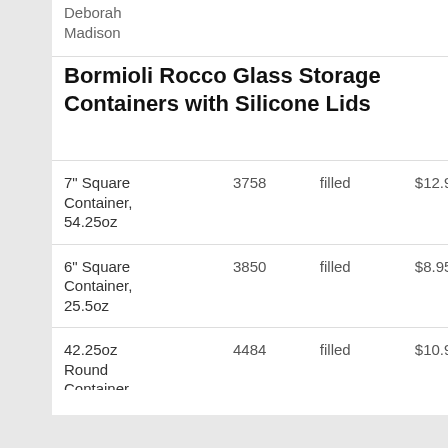Deborah Madison
Bormioli Rocco Glass Storage Containers with Silicone Lids
|  |  |  |  |
| --- | --- | --- | --- |
| 7" Square Container, 54.25oz | 3758 | filled | $12.95 |
| 6" Square Container, 25.5oz | 3850 | filled | $8.95 |
| 42.25oz Round Container | 4484 | filled | $10.95 |
| 24.75oz Round Container | 4486 | filled | $8.95 |